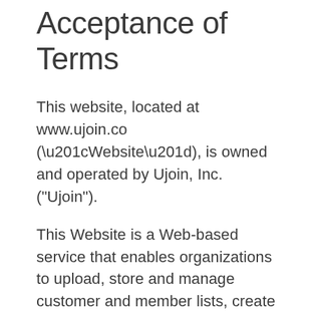Acceptance of Terms
This website, located at www.ujoin.co (“Website”), is owned and operated by Ujoin, Inc. ("Ujoin").
This Website is a Web-based service that enables organizations to upload, store and manage customer and member lists, create and send email campaigns to those lists, track and archive the results of those campaigns, create advocacy landing pages to